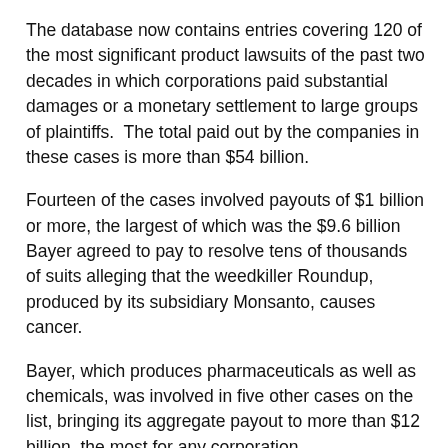The database now contains entries covering 120 of the most significant product lawsuits of the past two decades in which corporations paid substantial damages or a monetary settlement to large groups of plaintiffs.  The total paid out by the companies in these cases is more than $54 billion.
Fourteen of the cases involved payouts of $1 billion or more, the largest of which was the $9.6 billion Bayer agreed to pay to resolve tens of thousands of suits alleging that the weedkiller Roundup, produced by its subsidiary Monsanto, causes cancer.
Bayer, which produces pharmaceuticals as well as chemicals, was involved in five other cases on the list, bringing its aggregate payout to more than $12 billion, the most for any corporation.
Next in line are Pfizer and Johnson & Johnson, each with payout totals of about $5.5 billion for cases involving harm caused by products ranging from hip implants and diabetes drugs to heartburn medication and talcum powder.